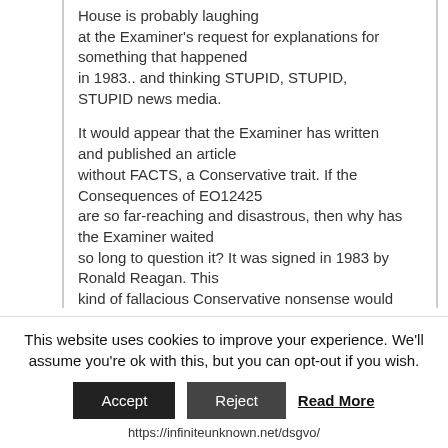House is probably laughing at the Examiner's request for explanations for something that happened in 1983.. and thinking STUPID, STUPID, STUPID news media.

It would appear that the Examiner has written and published an article without FACTS, a Conservative trait. If the Consequences of EO12425 are so far-reaching and disastrous, then why has the Examiner waited so long to question it? It was signed in 1983 by Ronald Reagan. This kind of fallacious Conservative nonsense would turn even Ronald Reagan into a Democrat. The Examiner needs to show exactly where the Ronald Reagan EO or the amended one by Obama or
This website uses cookies to improve your experience. We'll assume you're ok with this, but you can opt-out if you wish.
Accept  Reject  Read More
https://infiniteunknown.net/dsgvo/